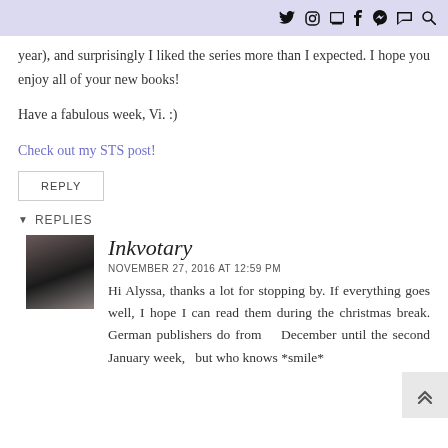social media icons: twitter, instagram, bookmark, facebook, pinterest, rss, search
year), and surprisingly I liked the series more than I expected. I hope you enjoy all of your new books!
Have a fabulous week, Vi. :)
Check out my STS post!
REPLY
REPLIES
Inkvotary
NOVEMBER 27, 2016 AT 12:59 PM
Hi Alyssa, thanks a lot for stopping by. If everything goes well, I hope I can read them during the christmas break. German publishers do from December until the second January week, but who knows *smile*